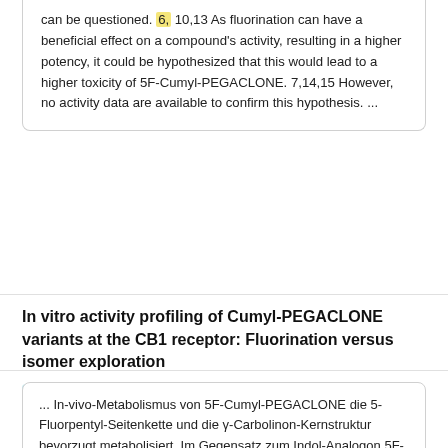can be questioned. 6, 10,13 As fluorination can have a beneficial effect on a compound's activity, resulting in a higher potency, it could be hypothesized that this would lead to a higher toxicity of 5F-Cumyl-PEGACLONE. 7,14,15 However, no activity data are available to confirm this hypothesis. ...
In vitro activity profiling of Cumyl-PEGACLONE variants at the CB1 receptor: Fluorination versus isomer exploration
Article
Jun 2020
Liesl Janssens · Annelies Cannaert · Matthew J. Connolly · Christophe Stove
View   Show abstract
... In-vivo-Metabolismus von 5F-Cumyl-PEGACLONE die 5-Fluorpentyl-Seitenkette und die γ-Carbolinon-Kernstruktur bevorzugt metabolisiert. Im Gegensatz zum Indol-Analogon 5F-Cumyl-PICA [162] und dem Indazol-Analogon 5F-Cumyl-PINACA [163] und Japan bisher